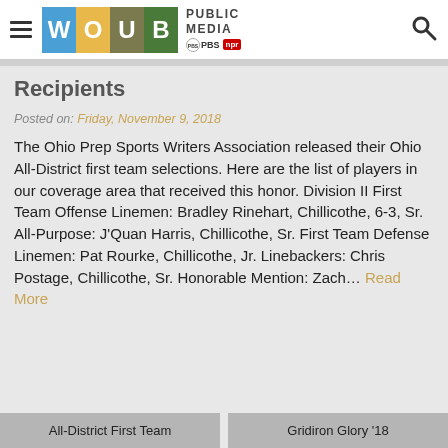WOUB Public Media PBS NPR
Recipients
Posted on: Friday, November 9, 2018
The Ohio Prep Sports Writers Association released their Ohio All-District first team selections.  Here are the list of players in our coverage area that received this honor. Division II First Team Offense  Linemen: Bradley Rinehart, Chillicothe, 6-3, Sr. All-Purpose:  J'Quan Harris, Chillicothe, Sr. First Team Defense Linemen: Pat Rourke, Chillicothe, Jr. Linebackers: Chris Postage, Chillicothe, Sr. Honorable Mention: Zach… Read More
All-District First Team
Gridiron Glory '18